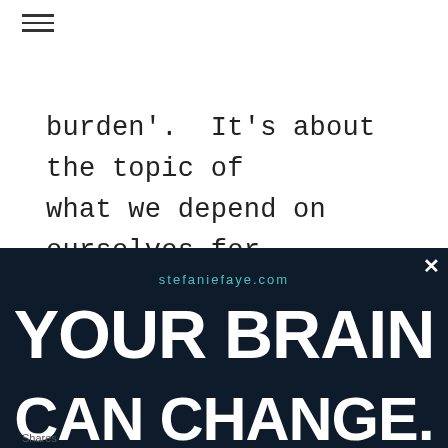[Figure (screenshot): Hamburger menu icon (three horizontal lines) in top left corner]
burden'.  It's about the topic of what we depend on ourselves for,
[Figure (screenshot): Modal popup with dark banner showing 'stefaniefaye.com' and large bold text 'YOUR BRAIN CAN CHANGE.' with close button X, email signup form, NO THANKS button, and DOWNLOAD THE E-BOOK button]
Shares